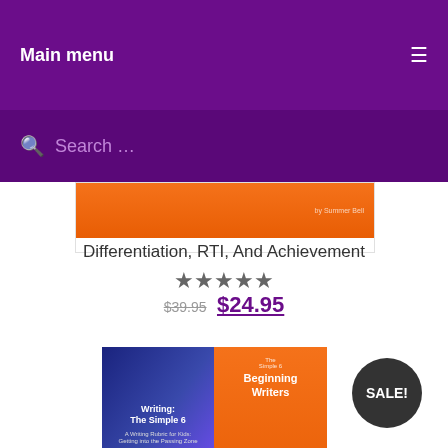Main menu
Search …
Differentiation, RTI, And Achievement
★★★★★
$39.95  $24.95
[Figure (photo): Book cover for Writing: The Simple 6 and The Simple 6 for Beginning Writers, with SALE! badge]